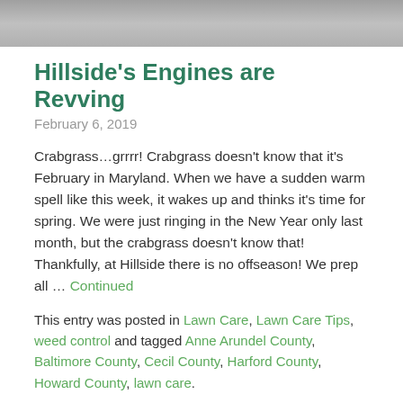[Figure (photo): Top portion of an outdoor photo, mostly gray/asphalt surface]
Hillside's Engines are Revving
February 6, 2019
Crabgrass…grrrr! Crabgrass doesn't know that it's February in Maryland. When we have a sudden warm spell like this week, it wakes up and thinks it's time for spring. We were just ringing in the New Year only last month, but the crabgrass doesn't know that! Thankfully, at Hillside there is no offseason! We prep all … Continued
This entry was posted in Lawn Care, Lawn Care Tips, weed control and tagged Anne Arundel County, Baltimore County, Cecil County, Harford County, Howard County, lawn care.
[Figure (photo): Outdoor photo showing green trees and a house in a residential setting]